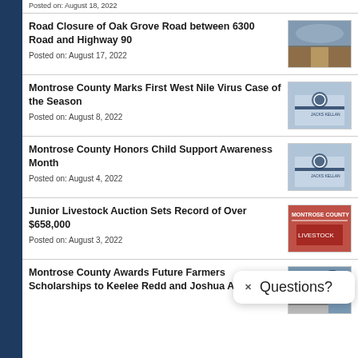Posted on: August 18, 2022
Road Closure of Oak Grove Road between 6300 Road and Highway 90
Posted on: August 17, 2022
[Figure (photo): Road closure photo showing a dirt road]
Montrose County Marks First West Nile Virus Case of the Season
Posted on: August 8, 2022
[Figure (photo): Montrose County building sign photo]
Montrose County Honors Child Support Awareness Month
Posted on: August 4, 2022
[Figure (photo): Montrose County building sign photo]
Junior Livestock Auction Sets Record of Over $658,000
Posted on: August 3, 2022
[Figure (photo): Montrose County livestock auction graphic]
Montrose County Awards Future Farmers Scholarships to Keelee Redd and Joshua Alexander
[Figure (photo): Montrose County seal/logo with scholarship recipients]